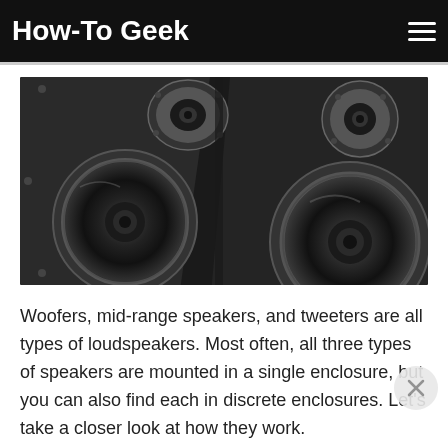How-To Geek
[Figure (photo): Close-up photograph of black loudspeakers showing woofers, mid-range speakers, and tweeters mounted in dark enclosures. Multiple circular speaker drivers visible at various sizes against a dark background.]
Woofers, mid-range speakers, and tweeters are all types of loudspeakers. Most often, all three types of speakers are mounted in a single enclosure, but you can also find each in discrete enclosures. Let's take a closer look at how they work.